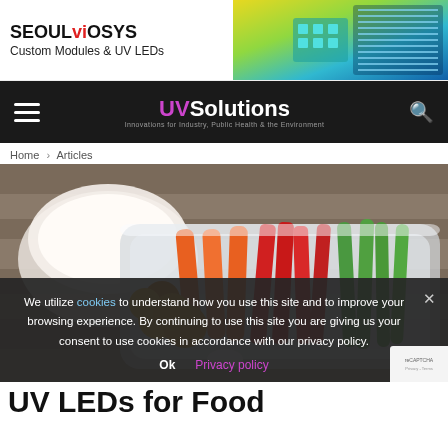[Figure (logo): Seoul Viosys logo with text Custom Modules & UV LEDs and a product image banner on the right]
UV Solutions — Innovations for Industry, Public Health & the Environment
Home › Articles
[Figure (photo): Photo of a plastic container filled with colorful vegetables: carrots, red peppers, cherry tomatoes, and green beans, alongside a container of dip]
We utilize cookies to understand how you use this site and to improve your browsing experience. By continuing to use this site you are giving us your consent to use cookies in accordance with our privacy policy.
Ok   Privacy policy
UV LEDs for Food